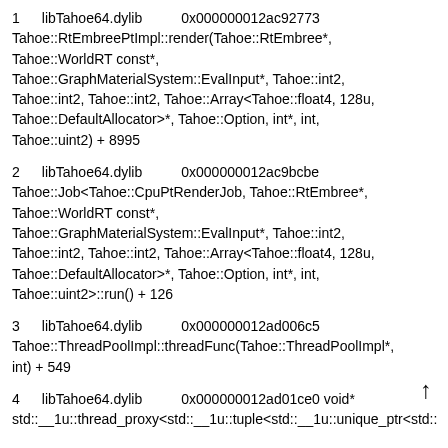1   libTahoe64.dylib         0x000000012ac92773 Tahoe::RtEmbreePtImpl::render(Tahoe::RtEmbree*, Tahoe::WorldRT const*, Tahoe::GraphMaterialSystem::EvalInput*, Tahoe::int2, Tahoe::int2, Tahoe::int2, Tahoe::Array<Tahoe::float4, 128u, Tahoe::DefaultAllocator>*, Tahoe::Option, int*, int, Tahoe::uint2) + 8995
2   libTahoe64.dylib         0x000000012ac9bcbe Tahoe::Job<Tahoe::CpuPtRenderJob, Tahoe::RtEmbree*, Tahoe::WorldRT const*, Tahoe::GraphMaterialSystem::EvalInput*, Tahoe::int2, Tahoe::int2, Tahoe::int2, Tahoe::Array<Tahoe::float4, 128u, Tahoe::DefaultAllocator>*, Tahoe::Option, int*, int, Tahoe::uint2>::run() + 126
3   libTahoe64.dylib         0x000000012ad006c5 Tahoe::ThreadPoolImpl::threadFunc(Tahoe::ThreadPoolImpl*, int) + 549
4   libTahoe64.dylib         0x000000012ad01ce0 void* std::__1u::thread_proxy<std::__1u::tuple<std::__1u::unique_ptr<std::